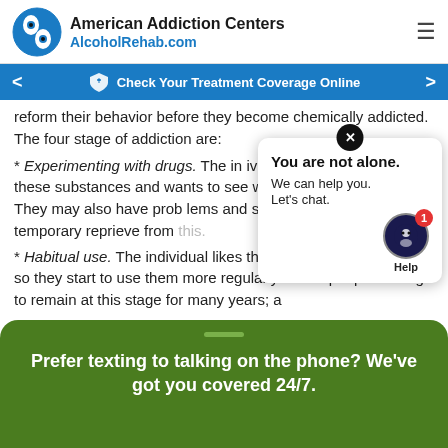American Addiction Centers AlcoholRehab.com
Check Your Treatment Coverage Online
reform their behavior before they become chemically addicted. The four stage of addiction are:
* Experimenting with drugs. The individual is curious about these substances and wants to see what all the fuss is about. They may also have problems and sees using drugs as a temporary reprieve from this.
* Habitual use. The individual likes the effects of these drugs so they start to use them more regularly. Some people manage to remain at this stage for many years; a
[Figure (screenshot): Chat popup with 'You are not alone. We can help you. Let's chat.' message and Help button with badge showing 1]
Prefer texting to talking on the phone? We've got you covered 24/7.